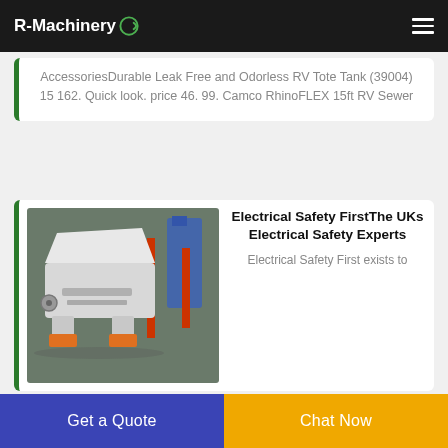R-Machinery
AccessoriesDurable Leak Free and Odorless RV Tote Tank (39004) 15 162. Quick look. price 46. 99. Camco RhinoFLEX 15ft RV Sewer
[Figure (photo): Industrial machinery — a large white metal hopper/shredder unit with orange feet, in a factory setting with blue and red machinery in background]
Electrical Safety FirstThe UKs Electrical Safety Experts
Electrical Safety First exists to
Get a Quote
Chat Now